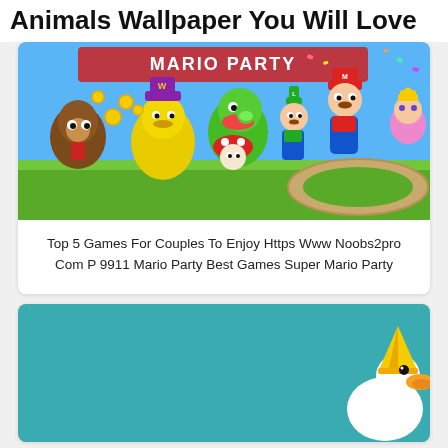Animals Wallpaper You Will Love
[Figure (illustration): Mario Party video game characters including Mario, Luigi, Yoshi, Wario, Toad, Donkey Kong, and Princess Peach on a colorful game background]
Top 5 Games For Couples To Enjoy Https Www Noobs2pro Com P 9911 Mario Party Best Games Super Mario Party
[Figure (illustration): Teal/turquoise background with a cartoon white goose wearing a yellow party hat in the bottom right corner]